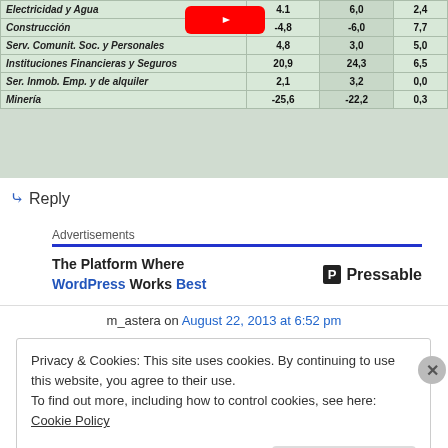[Figure (table-as-image): Partial screenshot of a table with Spanish economic sector data. Rows: Electricidad y Agua (4.1, 6.0, 2.4), Construcción (-4.8, -4.0, 7.7), Serv. Comunit. Soc. y Personales (4.8, 3.0, 5.0), Instituciones Financieras y Seguros (20.9, 24.3, 6.5), Ser. Inmob. Emp. y de alquiler (2.1, 3.2, 0.0), Minería (-25.6, -22.2, 0.3). A YouTube play button overlays the top row.]
↪ Reply
Advertisements
The Platform Where WordPress Works Best   P Pressable
m_astera on August 22, 2013 at 6:52 pm
Privacy & Cookies: This site uses cookies. By continuing to use this website, you agree to their use.
To find out more, including how to control cookies, see here: Cookie Policy
Close and accept